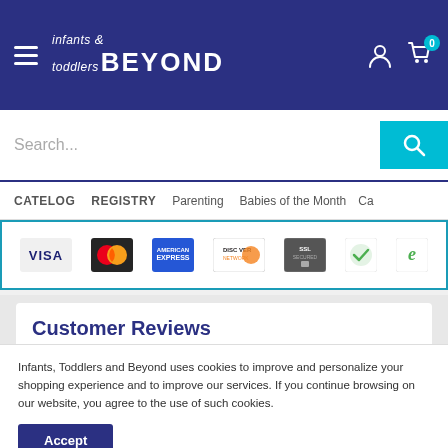infants & toddlers BEYOND
Search...
CATELOG   REGISTRY   Parenting   Babies of the Month   Ca
[Figure (other): Payment method logos: Visa, MasterCard, American Express, Discover Network, SSL Secured, green checkmark badge, and e-commerce trust badge]
Customer Reviews
Infants, Toddlers and Beyond uses cookies to improve and personalize your shopping experience and to improve our services. If you continue browsing on our website, you agree to the use of such cookies.
Accept